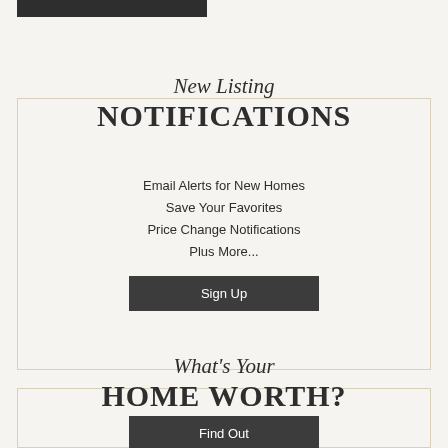[Figure (other): Dark horizontal bar at top left]
New Listing NOTIFICATIONS
Email Alerts for New Homes
Save Your Favorites
Price Change Notifications
Plus More...
Sign Up
What's Your HOME WORTH?
Find Out